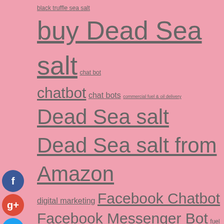[Figure (infographic): Tag cloud on pink background with various keyword tags in different sizes, alongside social sharing buttons (Facebook, Google+, Twitter, Add)]